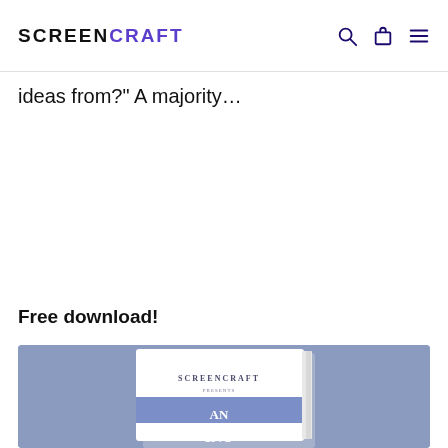SCREENCRAFT
ideas from?" A majority…
Free download!
[Figure (illustration): ScreenCraft book cover illustration on a blue-grey background showing a white book with 'SCREENCRAFT Presents AN INT...' text on the cover]